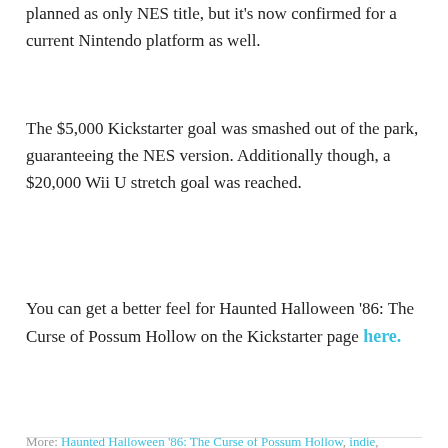planned as only NES title, but it's now confirmed for a current Nintendo platform as well.
The $5,000 Kickstarter goal was smashed out of the park, guaranteeing the NES version. Additionally though, a $20,000 Wii U stretch goal was reached.
You can get a better feel for Haunted Halloween '86: The Curse of Possum Hollow on the Kickstarter page here.
More: Haunted Halloween '86: The Curse of Possum Hollow, indie, Kickstarter, Retrotainment Games